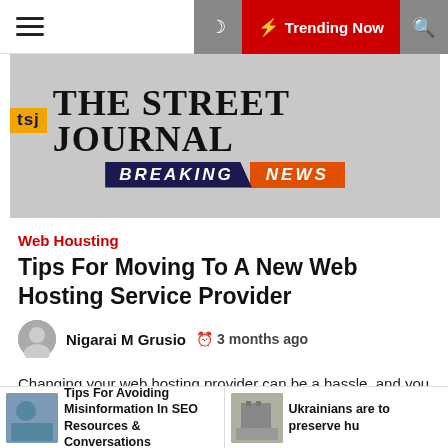☰  ☽  ⚡ Trending Now  🔍
[Figure (logo): The Street Journal Breaking News logo on grey background]
Web Housting
Tips For Moving To A New Web Hosting Service Provider
Nigarai M Grusio  🕐 3 months ago
Changing your web hosting provider can be a hassle, and you might lose critical data if you don't take the proper steps to protect your files. The good thing is that anyone can switch
Tips For Avoiding Misinformation In SEO Resources & Conversations | Ukrainians are to preserve hu